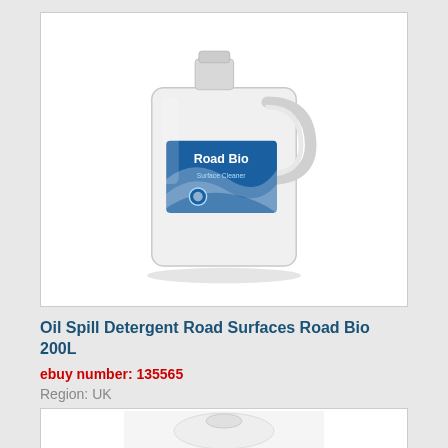[Figure (photo): White plastic Jerry can/jug with a blue label reading 'Road Bio' with a water/wave image on the label]
Oil Spill Detergent Road Surfaces Road Bio 200L
ebuy number: 135565
Region: UK
[Figure (photo): Partial view of a second product image at the bottom of the page, partially cropped]